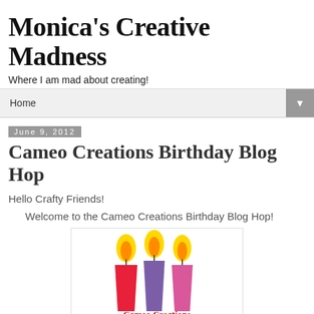Monica's Creative Madness
Where I am mad about creating!
Home ▼
June 9, 2012
Cameo Creations Birthday Blog Hop
Hello Crafty Friends!
Welcome to the Cameo Creations Birthday Blog Hop!
[Figure (illustration): Three birthday candles (red, purple, pink) with yellow flames, with text 'Cameo Creations Birthday Blog Hop' below in red/pink script]